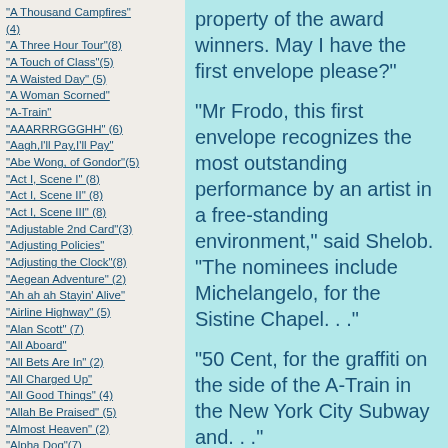"A Thousand Campfires" (4)
"A Three Hour Tour"(8)
"A Touch of Class"(5)
"A Waisted Day" (5)
"A Woman Scorned"
"A-Train"
"AAARRRGGGHH" (6)
"Aagh,I'll Pay,I'll Pay"
"Abe Wong, of Gondor"(5)
"Act I, Scene I" (8)
"Act I, Scene II" (8)
"Act I, Scene III" (8)
"Adjustable 2nd Card"(3)
"Adjusting Policies"
"Adjusting the Clock"(8)
"Aegean Adventure" (2)
"Ah ah ah Stayin' Alive"
"Airline Highway" (5)
"Alan Scott" (7)
"All Aboard"
"All Bets Are In" (2)
"All Charged Up"
"All Good Things" (4)
"Allah Be Praised" (5)
"Almost Heaven" (2)
"Alpha Dog"(7)
"Alright, Who Did It?"(7)
property of the award winners. May I have the first envelope please?"
"Mr Frodo, this first envelope recognizes the most outstanding performance by an artist in a free-standing environment," said Shelob. "The nominees include Michelangelo, for the Sistine Chapel. . ."
"50 Cent, for the graffiti on the side of the A-Train in the New York City Subway and. . ."
"Wyland, for the Great Whales on urban buildings across America. . ."